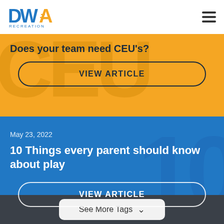[Figure (logo): DWA Recreation logo with blue and orange colors]
Does your team need CEU's?
VIEW ARTICLE
May 23, 2022
10 Things every parent should know about play
VIEW ARTICLE
See More Tags